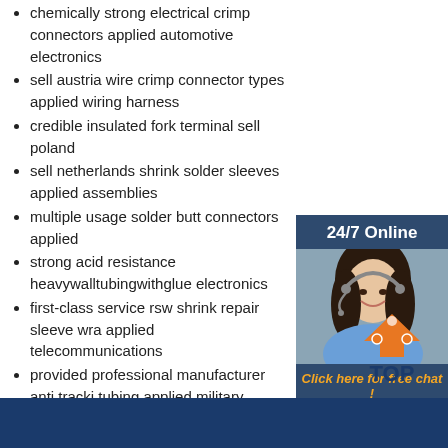chemically strong electrical crimp connectors applied automotive electronics
sell austria wire crimp connector types applied wiring harness
credible insulated fork terminal sell poland
sell netherlands shrink solder sleeves applied assemblies
multiple usage solder butt connectors applied
strong acid resistance heavywalltubingwithglue electronics
first-class service rsw shrink repair sleeve wrap applied telecommunications
provided professional manufacturer anti tracking tubing applied military industry
factory price sale heat shrink tubing used truck
military grade fork terminals applied industry
sell belgium shrink terminal solder seal sleeve applied military industry
used occasions general purpose shrink tubing sell sweden
[Figure (illustration): Customer service representative photo with 24/7 Online banner and QUOTATION button with orange color]
[Figure (logo): TOP logo with orange triangle/arrow design]